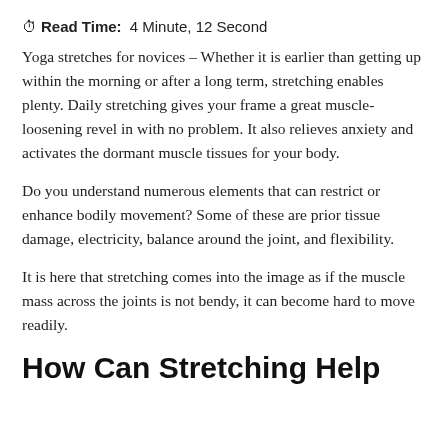Read Time: 4 Minute, 12 Second
Yoga stretches for novices – Whether it is earlier than getting up within the morning or after a long term, stretching enables plenty. Daily stretching gives your frame a great muscle-loosening revel in with no problem. It also relieves anxiety and activates the dormant muscle tissues for your body.
Do you understand numerous elements that can restrict or enhance bodily movement? Some of these are prior tissue damage, electricity, balance around the joint, and flexibility.
It is here that stretching comes into the image as if the muscle mass across the joints is not bendy, it can become hard to move readily.
How Can Stretching Help